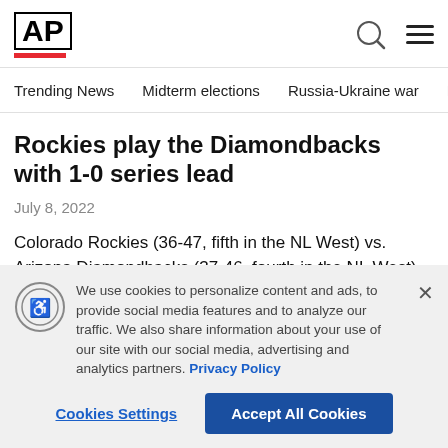AP
Trending News  Midterm elections  Russia-Ukraine war  Dona
Rockies play the Diamondbacks with 1-0 series lead
July 8, 2022
Colorado Rockies (36-47, fifth in the NL West) vs. Arizona Diamondbacks (37-46, fourth in the NL West)
Phoenix; Friday, 9:40 p.m. EDT
We use cookies to personalize content and ads, to provide social media features and to analyze our traffic. We also share information about your use of our site with our social media, advertising and analytics partners. Privacy Policy